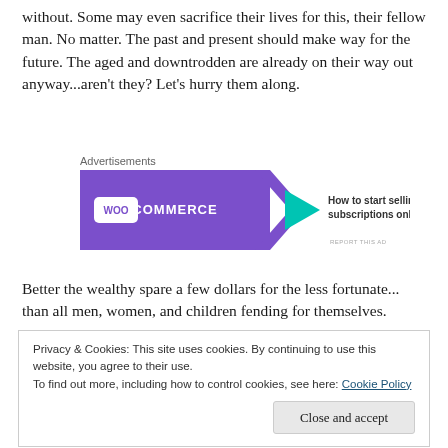without. Some may even sacrifice their lives for this, their fellow man. No matter. The past and present should make way for the future. The aged and downtrodden are already on their way out anyway...aren't they? Let's hurry them along.
[Figure (screenshot): WooCommerce advertisement banner: purple background with WooCommerce logo on left and text 'How to start selling subscriptions online' on right with colorful leaf decorations]
Better the wealthy spare a few dollars for the less fortunate... than all men, women, and children fending for themselves.
Privacy & Cookies: This site uses cookies. By continuing to use this website, you agree to their use.
To find out more, including how to control cookies, see here: Cookie Policy

Close and accept